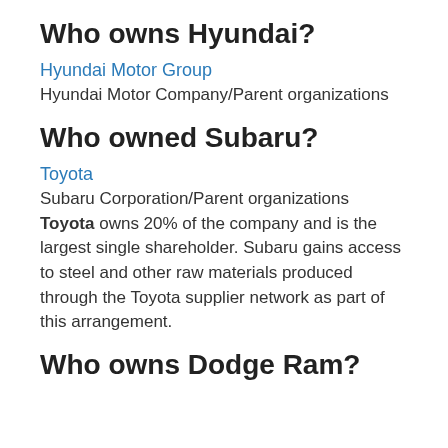Who owns Hyundai?
Hyundai Motor Group
Hyundai Motor Company/Parent organizations
Who owned Subaru?
Toyota
Subaru Corporation/Parent organizations
Toyota owns 20% of the company and is the largest single shareholder. Subaru gains access to steel and other raw materials produced through the Toyota supplier network as part of this arrangement.
Who owns Dodge Ram?